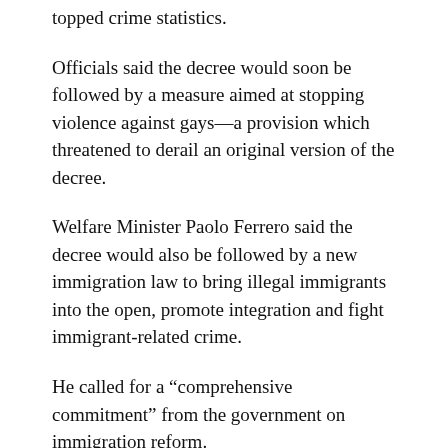topped crime statistics.
Officials said the decree would soon be followed by a measure aimed at stopping violence against gays—a provision which threatened to derail an original version of the decree.
Welfare Minister Paolo Ferrero said the decree would also be followed by a new immigration law to bring illegal immigrants into the open, promote integration and fight immigrant-related crime.
He called for a “comprehensive commitment” from the government on immigration reform.
The new immigration bill, drafted by Ferrero and Interior Minister Giuliano Amato, will be put to parliament next month. Friday’s decree is a new version of one issued in November which was set to expire.